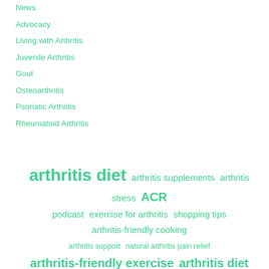News
Advocacy
Living with Arthritis
Juvenile Arthritis
Gout
Osteoarthritis
Psoriatic Arthritis
Rheumatoid Arthritis
[Figure (infographic): Tag cloud with arthritis-related search terms in various font sizes rendered in teal/green color. Larger terms include: arthritis diet, arthritis exercise, arthritis and the holidays, arthritis-friendly exercise, arthritis diet foods, arthritis sleep. Medium terms include: arthritis supplements, arthritis stress, ACR podcast, exercise for arthritis, shopping tips, arthritis-friendly cooking, arthritis support, natural arthritis pain relief, traveling with arthritis, RA, supplements for arthritis, arthritis pain, arthritis exercises, symptom management. Smaller terms include: arthritis-friendly diet, gardening, arthritis pain management.]